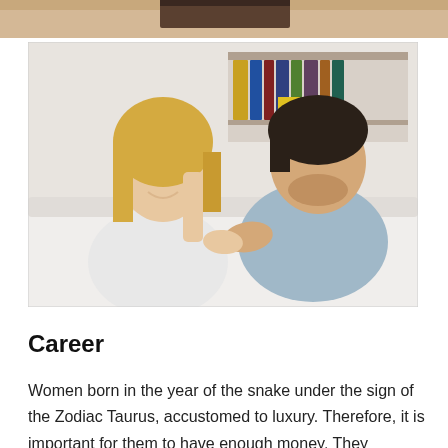[Figure (photo): Partial view of a photo at the top of the page, cropped — appears to show the top portion of an indoor scene with a table surface.]
[Figure (photo): A man and woman sitting together on a couch in a living room, smiling and looking at each other. The woman has blonde hair wearing a white top; the man has dark hair wearing a gray hoodie. Bookshelves visible in background.]
Career
Women born in the year of the snake under the sign of the Zodiac Taurus, accustomed to luxury. Therefore, it is important for them to have enough money. They